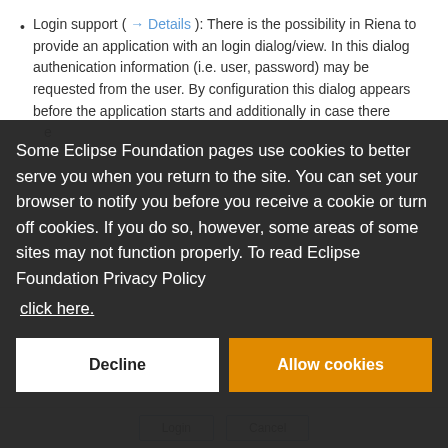Login support ( → Details ): There is the possibility in Riena to provide an application with an login dialog/view. In this dialog authenication information (i.e. user, password) may be requested from the user. By configuration this dialog appears before the application starts and additionally in case there
Some Eclipse Foundation pages use cookies to better serve you when you return to the site. You can set your browser to notify you before you receive a cookie or turn off cookies. If you do so, however, some areas of some sites may not function properly. To read Eclipse Foundation Privacy Policy click here.
Decline
Allow cookies